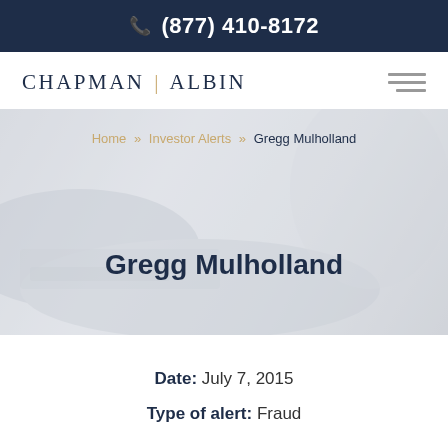(877) 410-8172
[Figure (logo): Chapman Albin law firm logo with text CHAPMAN | ALBIN and a hamburger menu icon]
Home » Investor Alerts » Gregg Mulholland
Gregg Mulholland
Date: July 7, 2015
Type of alert: Fraud